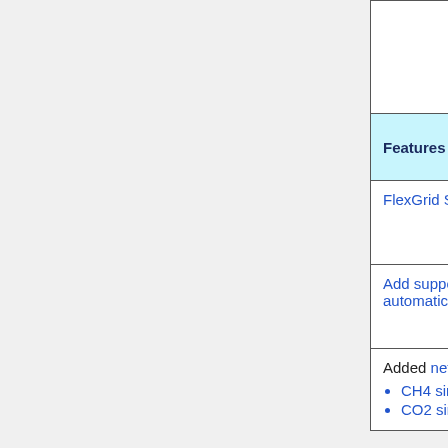| Feature | Contributor |
| --- | --- |
| (empty) | (empty) |
| Features NOT affecting the full... |  |
| FlexGrid Stage 1: Use HEMCO to read met fields | Jiawei Zhuang (Harvard)
Jintai Lin (PKU) |
| Add support for continuous integration with TravisCI – automatically test each commit as soon as it is pushed to Github | Jiawei Zhuang (Harvard)
Bob Yantosca (GCST) |
| Added netCDF diagnostics in the following areas:
• CH4 simulation
• CO2 simulation | Bob Yantosca (GCST) |